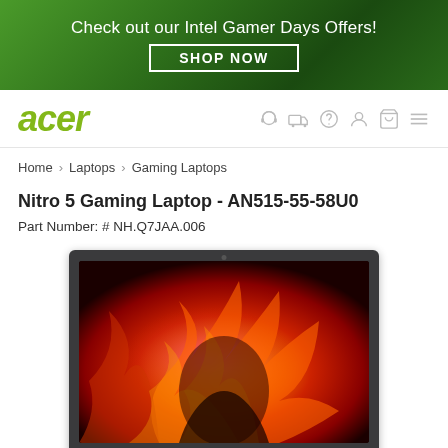[Figure (screenshot): Green gradient promotional banner with text 'Check out our Intel Gamer Days Offers!' and a 'SHOP NOW' button with white border]
[Figure (logo): Acer logo in green italic text on white navigation bar with support icons]
Home > Laptops > Gaming Laptops
Nitro 5 Gaming Laptop - AN515-55-58U0
Part Number: # NH.Q7JAA.006
[Figure (photo): Acer Nitro 5 gaming laptop with dark grey chassis, open lid showing a fiery red and orange phoenix wallpaper on the display]